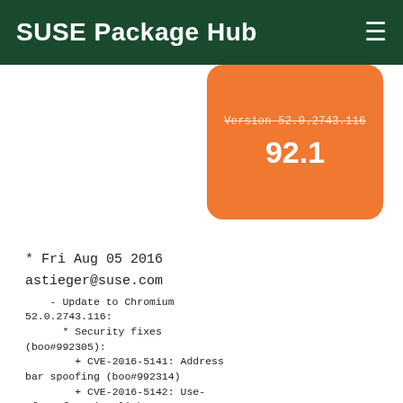SUSE Package Hub
[Figure (other): Orange rounded rectangle badge showing version 92.1 with a strikethrough version label above it]
* Fri Aug 05 2016
astieger@suse.com
    - Update to Chromium 52.0.2743.116:
      * Security fixes (boo#992305):
        + CVE-2016-5141: Address bar spoofing (boo#992314)
        + CVE-2016-5142: Use-after-free in Blink (boo#992313)
        + CVE-2016-5139: Heap overflow in pdfium (boo#992311)
        + CVE-2016-5140: Heap overflow in pdfium (boo#992310)
        + CVE-2016-5145: Same origin bypass for images in Blink
          (boo#992320)
        + CVE-2016-5143: Parameter sanitization failure in DevTools
          (boo#992319)
        + CVE-2016-5144: Parameter sanitization